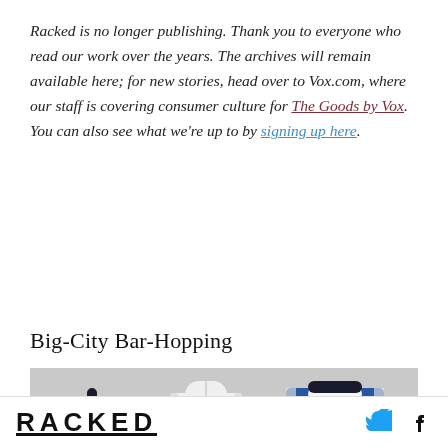Racked is no longer publishing. Thank you to everyone who read our work over the years. The archives will remain available here; for new stories, head over to Vox.com, where our staff is covering consumer culture for The Goods by Vox. You can also see what we're up to by signing up here.
Big-City Bar-Hopping
[Figure (photo): Three clothing items on a gray background: a black halter sports bra, a white sleeveless cropped top, and a blue and white varsity/souvenir bomber jacket with floral embroidery.]
RACKED